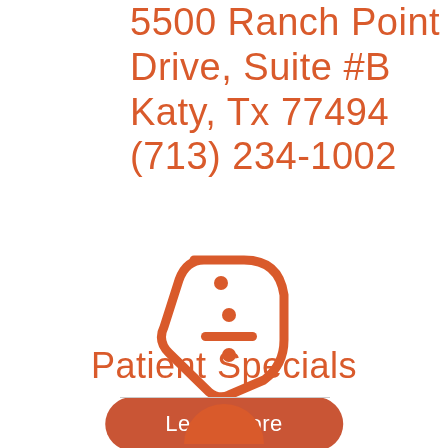5500 Ranch Point Drive, Suite #B Katy, Tx 77494 (713) 234-1002
[Figure (illustration): Orange discount/price tag icon with a division symbol (dot, dash, dot) in the center]
Patient Specials
Learn More
[Figure (illustration): Partial orange circular icon visible at the very bottom of the page, below a horizontal divider line]